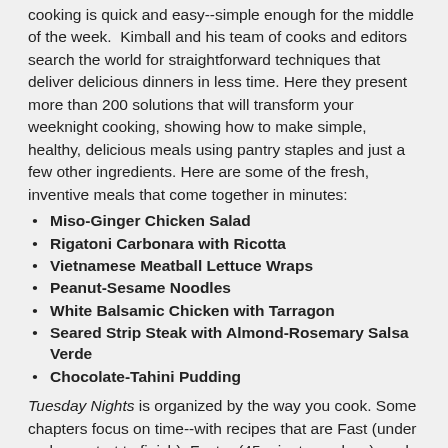cooking is quick and easy--simple enough for the middle of the week. Kimball and his team of cooks and editors search the world for straightforward techniques that deliver delicious dinners in less time. Here they present more than 200 solutions that will transform your weeknight cooking, showing how to make simple, healthy, delicious meals using pantry staples and just a few other ingredients. Here are some of the fresh, inventive meals that come together in minutes:
Miso-Ginger Chicken Salad
Rigatoni Carbonara with Ricotta
Vietnamese Meatball Lettuce Wraps
Peanut-Sesame Noodles
White Balsamic Chicken with Tarragon
Seared Strip Steak with Almond-Rosemary Salsa Verde
Chocolate-Tahini Pudding
Tuesday Nights is organized by the way you cook. Some chapters focus on time--with recipes that are Fast (under an hour, start to finish), Faster (45 minutes or less), and Fastest (25 minutes or less). Others highlight easy methods or themes, including Supper Salads, Roast and Simmer and Easy Additions. And